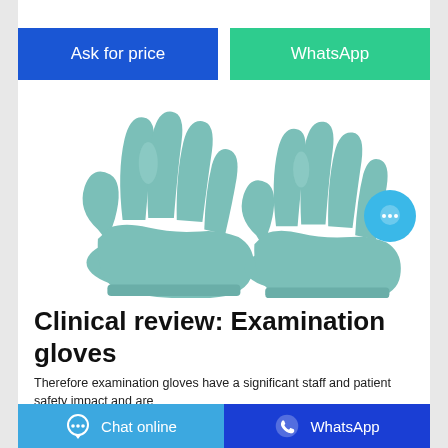[Figure (other): Two teal/seafoam colored examination gloves side by side on white background]
Clinical review: Examination gloves
Therefore examination gloves have a significant staff and patient safety impact and are
[Figure (screenshot): Bottom navigation bar with 'Chat online' and 'WhatsApp' buttons in cyan and blue]